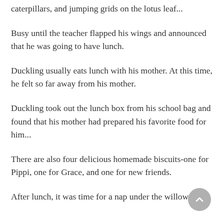caterpillars, and jumping grids on the lotus leaf...
Busy until the teacher flapped his wings and announced that he was going to have lunch.
Duckling usually eats lunch with his mother. At this time, he felt so far away from his mother.
Duckling took out the lunch box from his school bag and found that his mother had prepared his favorite food for him...
There are also four delicious homemade biscuits-one for Pippi, one for Grace, and one for new friends.
After lunch, it was time for a nap under the willow tree.